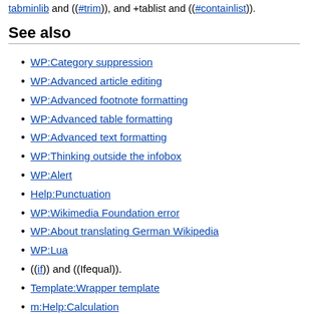tabminlib and ((#trim)), and +tablist and ((#containlist)).
See also
WP:Category suppression
WP:Advanced article editing
WP:Advanced footnote formatting
WP:Advanced table formatting
WP:Advanced text formatting
WP:Thinking outside the infobox
WP:Alert
Help:Punctuation
WP:Wikimedia Foundation error
WP:About translating German Wikipedia
WP:Lua
((if)) and ((Ifequal)).
Template:Wrapper template
m:Help:Calculation
Notes
^ But if you want the HTML comment to appear, as is the case, for example, with Users writing templates, then do not